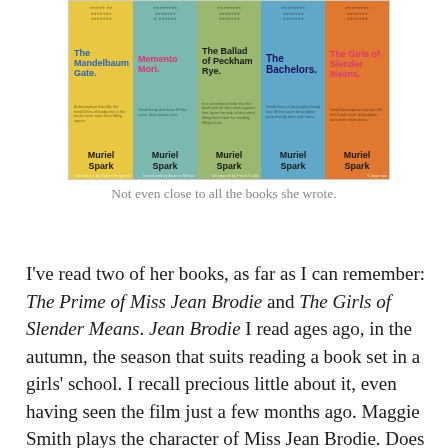[Figure (illustration): A grid of five Muriel Spark book covers: The Mandelbaum Gate (yellow), Memento Mori (teal), The Ballad of Peckham Rye (green), The Bachelors (blue), The Girls of Slender Means (orange). Each cover shows title text, a brief description, and 'Muriel Spark' as the author.]
Not even close to all the books she wrote.
I've read two of her books, as far as I can remember: The Prime of Miss Jean Brodie and The Girls of Slender Means. Jean Brodie I read ages ago, in the autumn, the season that suits reading a book set in a girls' school. I recall precious little about it, even having seen the film just a few months ago. Maggie Smith plays the character of Miss Jean Brodie. Does that count?